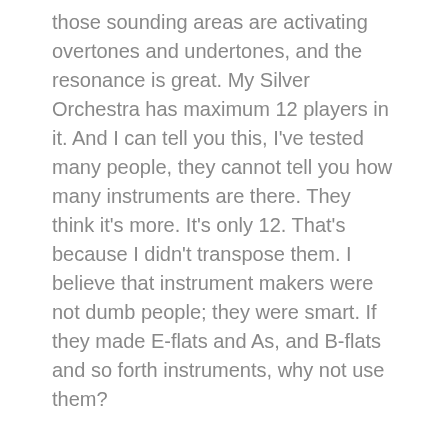those sounding areas are activating overtones and undertones, and the resonance is great. My Silver Orchestra has maximum 12 players in it. And I can tell you this, I've tested many people, they cannot tell you how many instruments are there. They think it's more. It's only 12. That's because I didn't transpose them. I believe that instrument makers were not dumb people; they were smart. If they made E-flats and As, and B-flats and so forth instruments, why not use them?
FJO: So when you're saying non-transposed, what you're essentially saying is they're